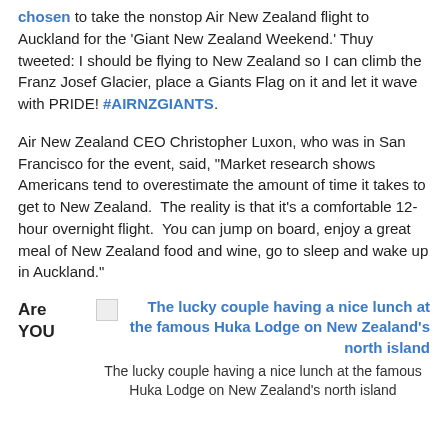chosen to take the nonstop Air New Zealand flight to Auckland for the 'Giant New Zealand Weekend.' Thuy tweeted: I should be flying to New Zealand so I can climb the Franz Josef Glacier, place a Giants Flag on it and let it wave with PRIDE! #AIRNZGIANTS.
Air New Zealand CEO Christopher Luxon, who was in San Francisco for the event, said, "Market research shows Americans tend to overestimate the amount of time it takes to get to New Zealand.  The reality is that it's a comfortable 12-hour overnight flight.  You can jump on board, enjoy a great meal of New Zealand food and wine, go to sleep and wake up in Auckland."
Are YOU
[Figure (photo): Broken image icon linking to photo of the lucky couple having a nice lunch at the famous Huka Lodge on New Zealand's north island]
The lucky couple having a nice lunch at the famous Huka Lodge on New Zealand's north island